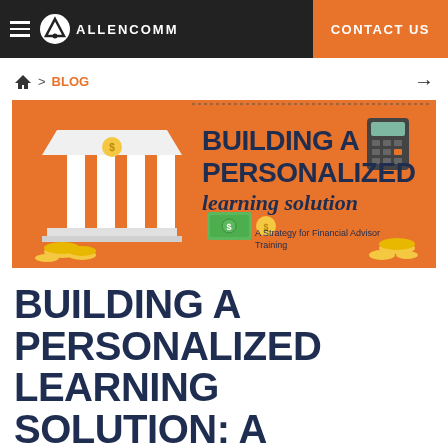AllenComm | CONTACT US
> BLOG
[Figure (illustration): Banner image for 'Building a Personalized Learning Solution: A Strategy for Financial Advisor Training'. Orange background with a white bank building illustration on the left, gold coins, a green dollar bill, a calculator icon, and the text: BUILDING A PERSONALIZED learning solution — A Strategy for Financial Advisor Training.]
BUILDING A PERSONALIZED LEARNING SOLUTION: A